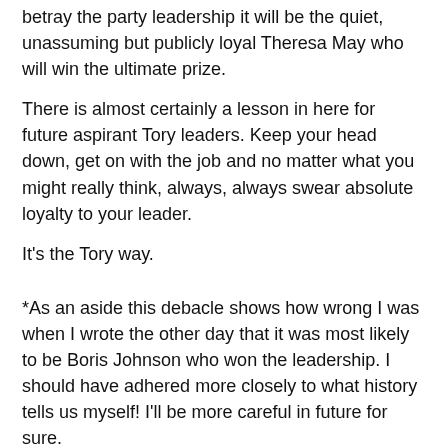betray the party leadership it will be the quiet, unassuming but publicly loyal Theresa May who will win the ultimate prize.
There is almost certainly a lesson in here for future aspirant Tory leaders. Keep your head down, get on with the job and no matter what you might really think, always, always swear absolute loyalty to your leader.
It's the Tory way.
*As an aside this debacle shows how wrong I was when I wrote the other day that it was most likely to be Boris Johnson who won the leadership. I should have adhered more closely to what history tells us myself! I'll be more careful in future for sure.
**It's worth noting that Major was able to "have his cake and eat it" when it came to Thatcher's nomination for the first round of the leadership ballot. Thatcher's team had wanted Major's signature on her nomination papers as he was Chancellor and that would have his right to do so bid. But Major...